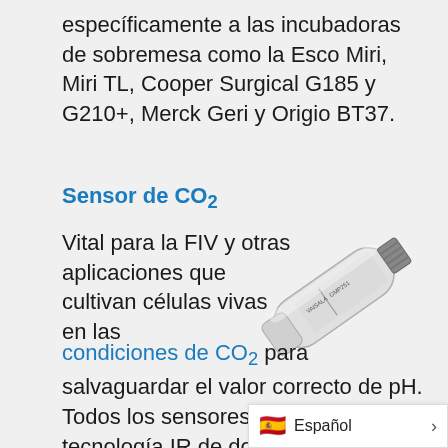específicamente a las incubadoras de sobremesa como la Esco Miri, Miri TL, Cooper Surgical G185 y G210+, Merck Geri y Origio BT37.
Sensor de CO₂
Vital para la FIV y otras aplicaciones que cultivan células vivas en las condiciones de CO₂ para salvaguardar el valor correcto de pH. Todos los sensores utilizan la tecnología IR de doble haz que los hace muy precisos. Disponibles desde sensores individuales has
[Figure (photo): A white cylindrical CO2 sensor probe with threaded metal connector at one end, labeled 'VAISALA GMP251', shown at an angle]
Español